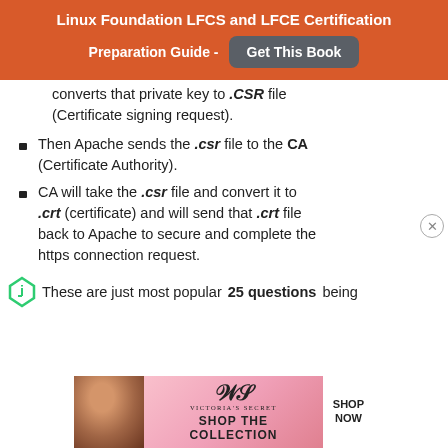Linux Foundation LFCS and LFCE Certification Preparation Guide - Get This Book
converts that private key to .CSR file (Certificate signing request).
Then Apache sends the .csr file to the CA (Certificate Authority).
CA will take the .csr file and convert it to .crt (certificate) and will send that .crt file back to Apache to secure and complete the https connection request.
These are just most popular 25 questions being
[Figure (photo): Victoria's Secret advertisement banner showing a model, VS logo, SHOP THE COLLECTION text, and SHOP NOW button]